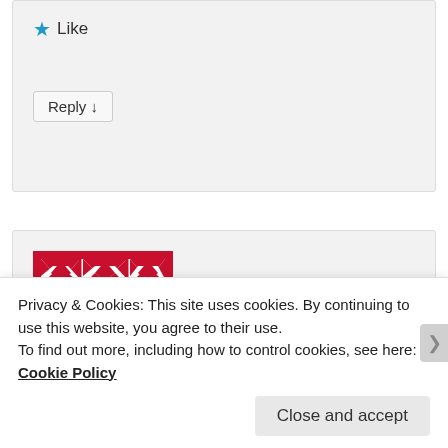[Figure (screenshot): Top comment card with a blue star Like icon and Reply button on light gray background]
[Figure (illustration): Second comment card with a red and white quilt-pattern avatar/logo and partially visible author name and date text]
Privacy & Cookies: This site uses cookies. By continuing to use this website, you agree to their use.
To find out more, including how to control cookies, see here: Cookie Policy
Close and accept